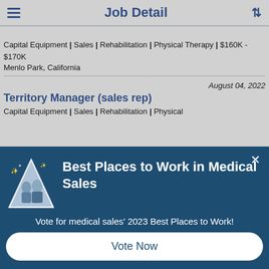Job Detail
Capital Equipment | Sales | Rehabilitation | Physical Therapy | $160K - $170K
Menlo Park, California
August 04, 2022
Territory Manager (sales rep)
Capital Equipment | Sales | Rehabilitation | Physical
[Figure (infographic): Best Places to Work in Medical Sales modal popup with triangle logo containing people image, close button, subtext 'Vote for medical sales' 2023 Best Places to Work!' and a Vote Now button]
Best Places to Work in Medical Sales
Vote for medical sales' 2023 Best Places to Work!
Vote Now